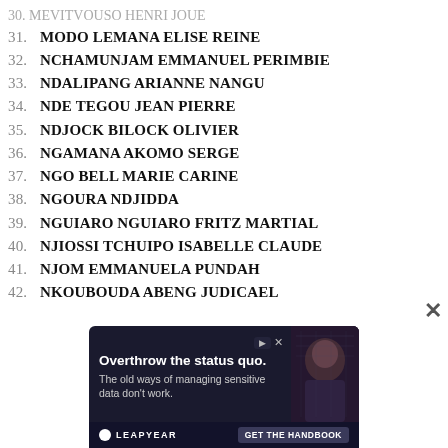30. MEVITVOUSO HENRI JOUE
31. MODO LEMANA ELISE REINE
32. NCHAMUNJAM EMMANUEL PERIMBIE
33. NDALIPANG ARIANNE NANGU
34. NDE TEGOU JEAN PIERRE
35. NDJOCK BILOCK OLIVIER
36. NGAMANA AKOMO SERGE
37. NGO BELL MARIE CARINE
38. NGOURA NDJIDDA
39. NGUIARO NGUIARO FRITZ MARTIAL
40. NJIOSSI TCHUIPO ISABELLE CLAUDE
41. NJOM EMMANUELA PUNDAH
42. NKOUBOUDA ABENG JUDICAEL
[Figure (other): Advertisement banner for Leapyear: 'Overthrow the status quo. The old ways of managing sensitive data don't work.' with GET THE HANDBOOK CTA and a portrait image.]